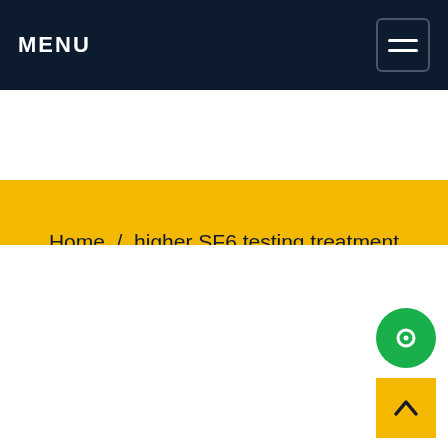MENU
Home / higher SF6 testing treatment pricing
REQUEST A QUOTE